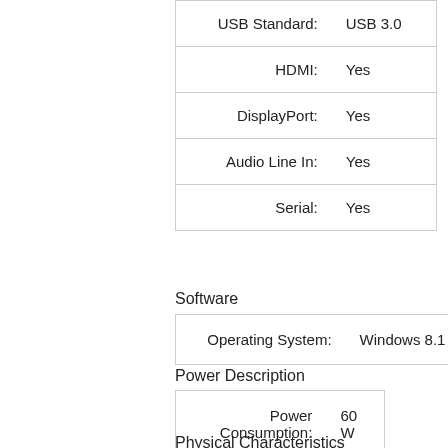| Attribute | Value |
| --- | --- |
| USB Standard: | USB 3.0 |
| HDMI: | Yes |
| DisplayPort: | Yes |
| Audio Line In: | Yes |
| Serial: | Yes |
Software
| Attribute | Value |
| --- | --- |
| Operating System: | Windows 8.1 Pro |
Power Description
| Attribute | Value |
| --- | --- |
| Power Consumption: | 60 W |
Physical Characteristics
| Attribute | Value |
| --- | --- |
| Height: | 1.2" |